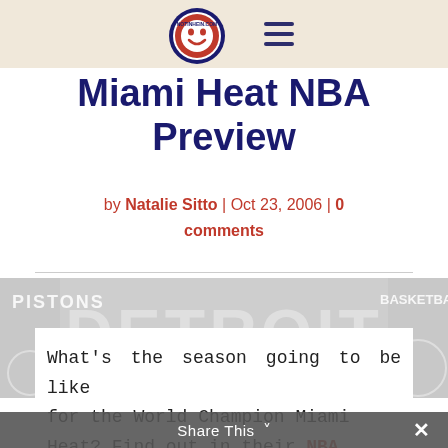Miami Heat NBA Preview
by Natalie Sitto | Oct 23, 2006 | 0 comments
[Figure (photo): Detroit Pistons watermark/background image in gray tones]
What's the season going to be like for the World Champion Miami Heat? Find out in their NBA
Share This